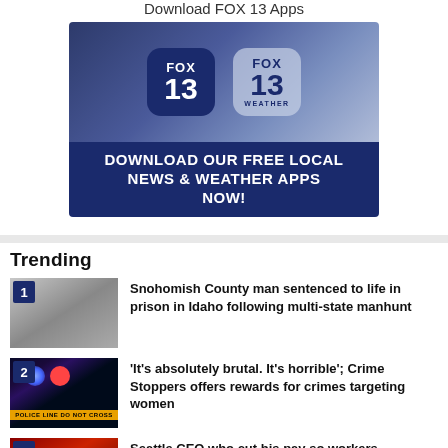Download FOX 13 Apps
[Figure (screenshot): FOX 13 app download banner showing FOX 13 news and FOX 13 Weather app icons with text 'DOWNLOAD OUR FREE LOCAL NEWS & WEATHER APPS NOW!']
Trending
1 Snohomish County man sentenced to life in prison in Idaho following multi-state manhunt
2 'It's absolutely brutal. It's horrible'; Crime Stoppers offers rewards for crimes targeting women
3 Seattle CEO who cut his pay so workers...